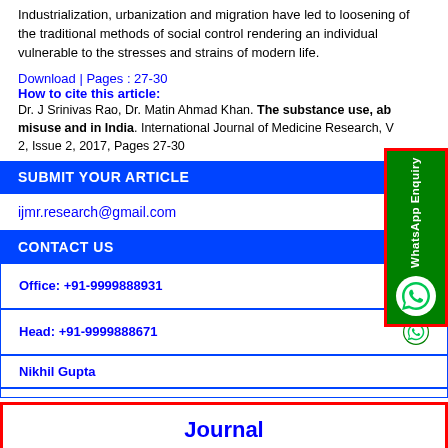Industrialization, urbanization and migration have led to loosening of the traditional methods of social control rendering an individual vulnerable to the stresses and strains of modern life.
Download | Pages : 27-30
How to cite this article:
Dr. J Srinivas Rao, Dr. Matin Ahmad Khan. The substance use, abuse, misuse and in India. International Journal of Medicine Research, Volume 2, Issue 2, 2017, Pages 27-30
SUBMIT YOUR ARTICLE
ijmr.research@gmail.com
CONTACT US
Office: +91-9999888931
Head: +91-9999888671
Nikhil Gupta
[Figure (infographic): WhatsApp Enquiry side button (green with red border)]
Journal List